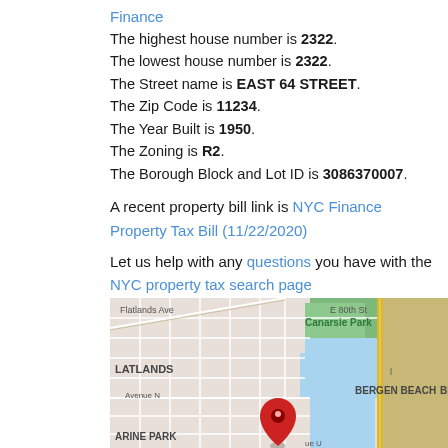Finance
The highest house number is 2322.
The lowest house number is 2322.
The Street name is EAST 64 STREET.
The Zip Code is 11234.
The Year Built is 1950.
The Zoning is R2.
The Borough Block and Lot ID is 3086370007.
A recent property bill link is NYC Finance Property Tax Bill (11/22/2020)
Let us help with any questions you have with the NYC property tax search page
[Figure (map): Google Maps view showing Bergen Beach, Canarsie Park, Flatlands, Marine Park area in Brooklyn NY with a red location pin marker]